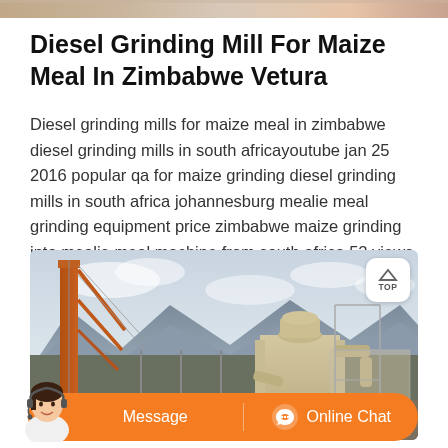[Figure (photo): Top strip image showing partial view of maize grinding equipment or related scene]
Diesel Grinding Mill For Maize Meal In Zimbabwe Vetura
Diesel grinding mills for maize meal in zimbabwe diesel grinding mills in south africayoutube jan 25 2016 popular qa for maize grinding diesel grinding mills in south africa johannesburg mealie meal grinding equipment price zimbabwe maize grinding into mealie meal machine from south africa 52 views the cgm is konw more mealies grinding . More ...
[Figure (photo): Outdoor photo of large industrial grinding mill equipment (tan/yellow colored machinery) with a crane or structural steel on the left, set against mountains and cloudy sky]
[Figure (other): Online chat bar with Message and Online Chat buttons, and a customer service avatar on the left]